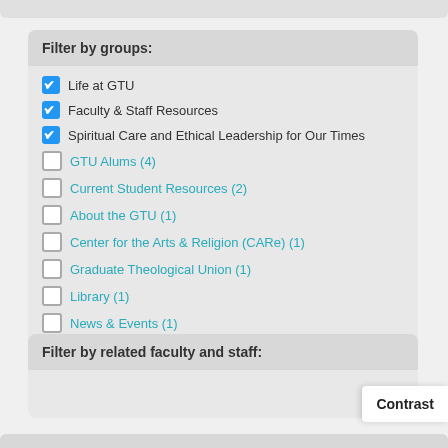Filter by groups:
Life at GTU
Faculty & Staff Resources
Spiritual Care and Ethical Leadership for Our Times
GTU Alums (4)
Current Student Resources (2)
About the GTU (1)
Center for the Arts & Religion (CARe) (1)
Graduate Theological Union (1)
Library (1)
News & Events (1)
Filter by related faculty and staff:
Contrast